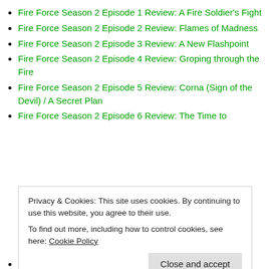Fire Force Season 2 Episode 1 Review: A Fire Soldier's Fight
Fire Force Season 2 Episode 2 Review: Flames of Madness
Fire Force Season 2 Episode 3 Review: A New Flashpoint
Fire Force Season 2 Episode 4 Review: Groping through the Fire
Fire Force Season 2 Episode 5 Review: Corna (Sign of the Devil) / A Secret Plan
Fire Force Season 2 Episode 6 Review: The Time to
Privacy & Cookies: This site uses cookies. By continuing to use this website, you agree to their use.
To find out more, including how to control cookies, see here: Cookie Policy
Fire Force Season 2 Episode 9 Review: The Core